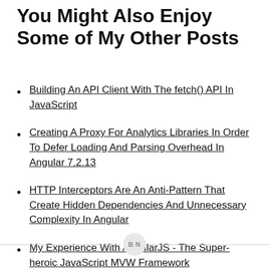You Might Also Enjoy Some of My Other Posts
Building An API Client With The fetch() API In JavaScript
Creating A Proxy For Analytics Libraries In Order To Defer Loading And Parsing Overhead In Angular 7.2.13
HTTP Interceptors Are An Anti-Pattern That Create Hidden Dependencies And Unnecessary Complexity In Angular
My Experience With AngularJS - The Super-heroic JavaScript MVW Framework